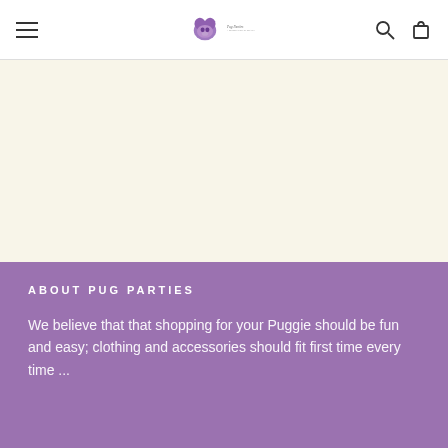Pug Parties — navigation header with hamburger menu, logo, search and cart icons
LEMON FRUIT PUG DRESS
$31
CO
ABOUT PUG PARTIES
We believe that that shopping for your Puggie should be fun and easy; clothing and accessories should fit first time every time ...